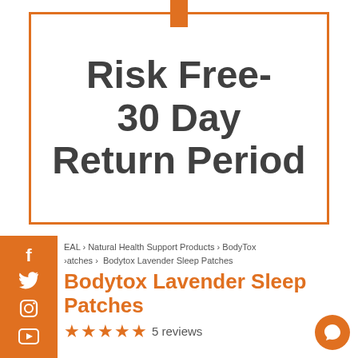[Figure (illustration): Risk Free 30 Day Return Period badge in an orange-bordered box with an orange tab at the top]
EAL › Natural Health Support Products › BodyTox ›atches › Bodytox Lavender Sleep Patches
Bodytox Lavender Sleep Patches
★★★★★ 5 reviews